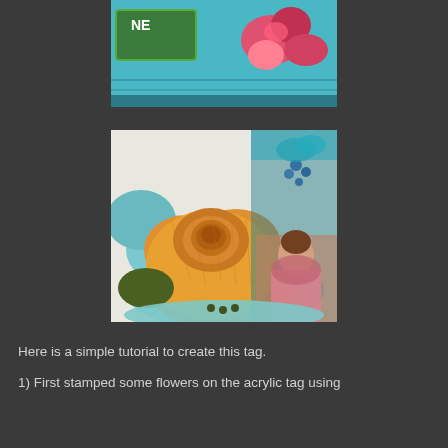[Figure (photo): Partial view of a decorative tag with a green label, red and pink flowers on teal/blue fabric background, cropped at top]
[Figure (photo): Close-up photo of an orange fabric/cheesecloth flower with teal fabric petals underneath, decorative collage with vintage girl image in background, blue beads, and colorful floral elements]
Here is a simple tutorial to create this tag.
1) First stamped some flowers on the acrylic tag using